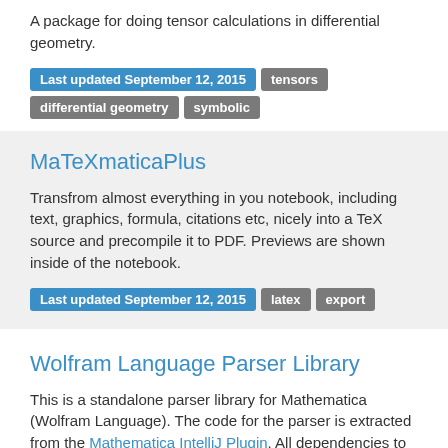A package for doing tensor calculations in differential geometry.
Last updated September 12, 2015  tensors  differential geometry  symbolic
MaTeXmaticaPlus
Transfrom almost everything in you notebook, including text, graphics, formula, citations etc, nicely into a TeX source and precompile it to PDF. Previews are shown inside of the notebook.
Last updated September 12, 2015  latex  export
Wolfram Language Parser Library
This is a standalone parser library for Mathematica (Wolfram Language). The code for the parser is extracted from the Mathematica IntelliJ Plugin. All dependencies to the IntelliJ